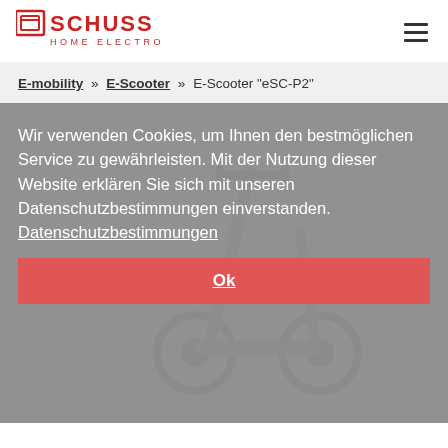[Figure (logo): Schuss Home Electronic logo in red]
E-mobility » E-Scooter » E-Scooter "eSC-P2"
[Figure (photo): E-scooter product photo in greyscale, overlaid by cookie consent banner]
Wir verwenden Cookies, um Ihnen den bestmöglichen Service zu gewährleisten. Mit der Nutzung dieser Website erklären Sie sich mit unseren Datenschutzbestimmungen einverstanden. Datenschutzbestimmungen
Ok